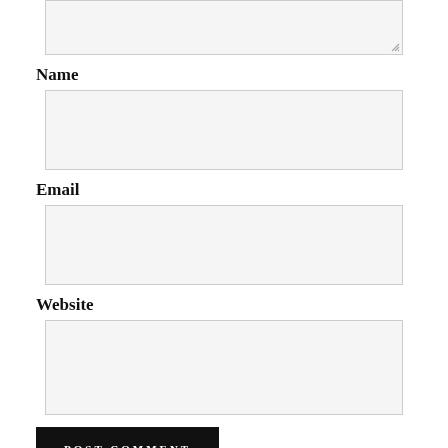[Figure (screenshot): A textarea input stub with resize handle at bottom-right corner, light gray background]
Name
[Figure (screenshot): A text input field stub, light gray background]
Email
[Figure (screenshot): A text input field stub, light gray background]
Website
[Figure (screenshot): A text input field stub, light gray background]
POST COMMENT
Notify me of new comments via email